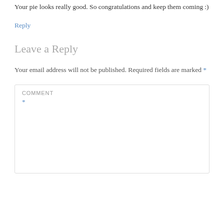Your pie looks really good. So congratulations and keep them coming :)
Reply
Leave a Reply
Your email address will not be published. Required fields are marked *
COMMENT *